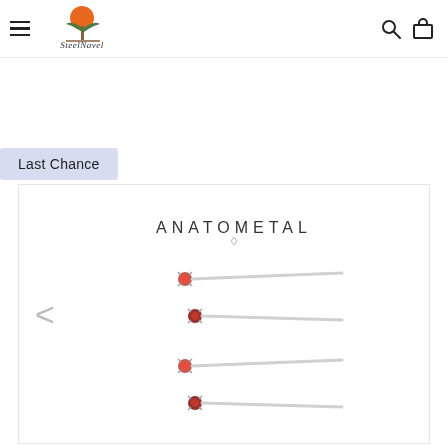SteelNavel navigation bar with hamburger menu, logo, search and cart icons
Last Chance
[Figure (photo): Anatometal branded product image showing four nose stud pins with red gemstone settings arranged in two pairs, on white background with left navigation arrow]